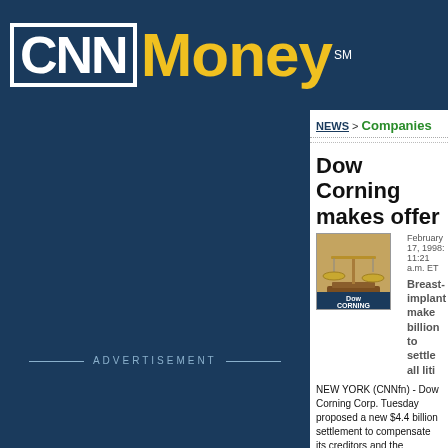CNN Money
NEWS > Companies
Dow Corning makes offer
[Figure (photo): Scales of justice with Dow Corning logo on wooden base]
February 17, 1998: 11:21 a.m. ET
Breast-implant make billion to settle all liti
NEW YORK (CNNfn) - Dow Corning Corp. Tuesday proposed a new $4.4 billion settlement to compensate its creditors and the thousands of women allegedly injured by silicon-gel breast implants.
However, the proposal -- which still needs the approval of U.S. Bankruptcy Judge Arthur Spector, who oversees Dow Corning's nearly three-year-old ba mixed reaction and could potentially cause a row betw the female plaintiffs, collectively known as the tort clai